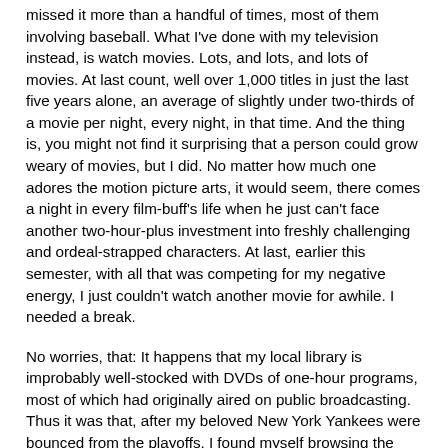missed it more than a handful of times, most of them involving baseball. What I've done with my television instead, is watch movies. Lots, and lots, and lots of movies. At last count, well over 1,000 titles in just the last five years alone, an average of slightly under two-thirds of a movie per night, every night, in that time. And the thing is, you might not find it surprising that a person could grow weary of movies, but I did. No matter how much one adores the motion picture arts, it would seem, there comes a night in every film-buff's life when he just can't face another two-hour-plus investment into freshly challenging and ordeal-strapped characters. At last, earlier this semester, with all that was competing for my negative energy, I just couldn't watch another movie for awhile. I needed a break.
No worries, that: It happens that my local library is improbably well-stocked with DVDs of one-hour programs, most of which had originally aired on public broadcasting. Thus it was that, after my beloved New York Yankees were bounced from the playoffs, I found myself browsing the documentary aisle of the library's DVD archives, gently fingering the spines of Michael Palin BBC productions.